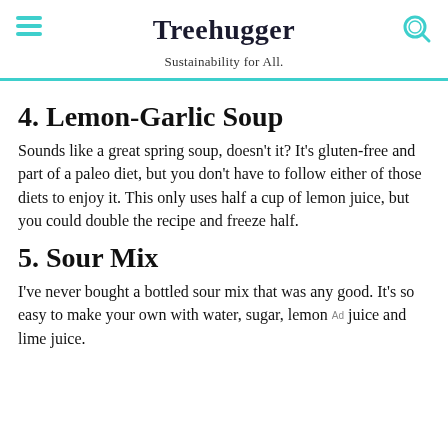Treehugger — Sustainability for All.
4. Lemon-Garlic Soup
Sounds like a great spring soup, doesn't it? It's gluten-free and part of a paleo diet, but you don't have to follow either of those diets to enjoy it. This only uses half a cup of lemon juice, but you could double the recipe and freeze half.
5. Sour Mix
I've never bought a bottled sour mix that was any good. It's so easy to make your own with water, sugar, lemon juice and lime juice.